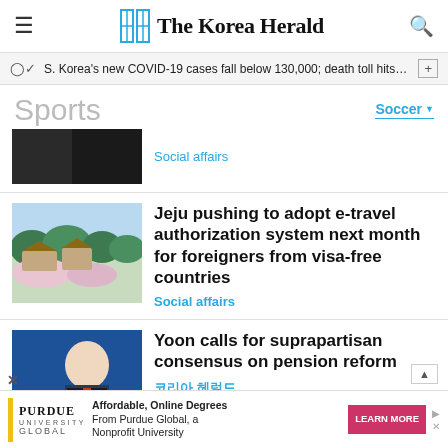The Korea Herald
S. Korea's new COVID-19 cases fall below 130,000; death toll hits …
Sports
Soccer
Social affairs
Jeju pushing to adopt e-travel authorization system next month for foreigners from visa-free countries
Social affairs
Yoon calls for suprapartisan consensus on pension reform
코리아 헤럴드